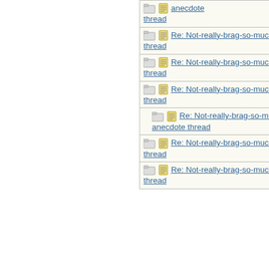| Subject | Author |
| --- | --- |
| anecdote thread |  |
| Re: Not-really-brag-so-much-as-quirky-anecdote thread | Lovemyd |
| Re: Not-really-brag-so-much-as-quirky-anecdote thread | aquinas |
| Re: Not-really-brag-so-much-as-quirky-anecdote thread | bmoore4 |
| Re: Not-really-brag-so-much-as-quirky-anecdote thread | EmeraldC |
| Re: Not-really-brag-so-much-as-quirky-anecdote thread | HowlerKa |
| Re: Not-really-brag-so-much-as-quirky-anecdote thread | aquinas |